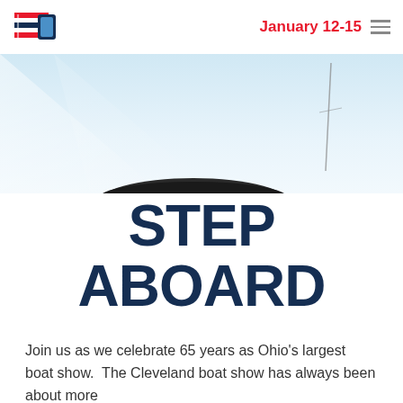[Figure (logo): CKO boat show logo with red and navy stripes and a blue square]
January 12-15
[Figure (photo): Boat on water with light blue sky, top of a dark boat hull and mast visible]
STEP ABOARD
Join us as we celebrate 65 years as Ohio's largest boat show.  The Cleveland boat show has always been about more